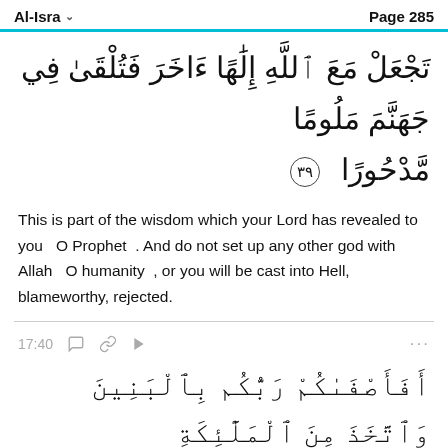Al-Isra   Page 285
تَجْعَلْ مَعَ اللَّهِ إِلَٰهًا ءَاخَرَ فَتُلْقَىٰ فِي جَهَنَّمَ مَلُومًا مَّدْحُورًا ٣٩
This is part of the wisdom which your Lord has revealed to you   O Prophet  . And do not set up any other god with Allah   O humanity  , or you will be cast into Hell, blameworthy, rejected.
17:40
أَفَأَصْفَىٰكُمْ رَبُّكُم بِالْبَنِينَ وَاتَّخَذَ مِنَ الْمَلَٰٓئِكَةِ